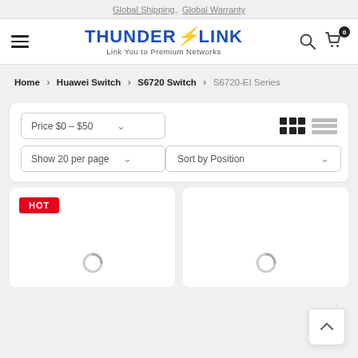Global Shipping, Global Warranty
[Figure (logo): ThunderLink logo with hamburger menu, search icon, and cart icon with 0 badge]
Home > Huawei Switch > S6720 Switch > S6720-EI Series
Price $0 – $50
Show 20 per page
Sort by Position
[Figure (screenshot): Product card with HOT badge and loading spinner]
[Figure (screenshot): Product card with loading spinner]